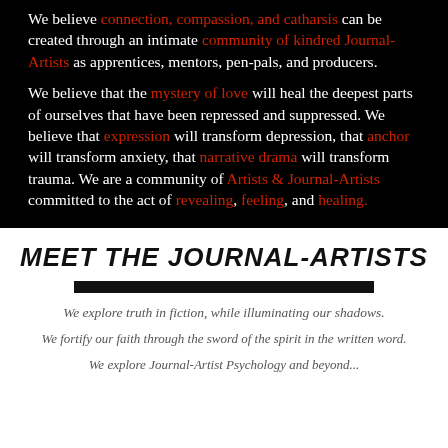We believe connection, compassion, and catharsis can be created through an intimate community of kindred Journal-Artists as apprentices, mentors, pen-pals, and producers.
We believe that the mystery of love will heal the deepest parts of ourselves that have been repressed and suppressed. We believe that expression will transform depression, that anchor will transform anxiety, that narrative drama will transform trauma. We are a community of Artists & Journal-Artists committed to the act of revealing, feeling, and healing.
MEET THE JOURNAL-ARTISTS
We explore truth in fiction, while illuminating our shadows.
We fortify our faith through the sword of the spirit in the written word.
We explore Journal-Artist Psychology and beyond...